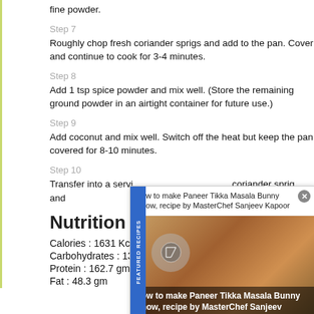fine powder.
Step 7
Roughly chop fresh coriander sprigs and add to the pan. Cover and continue to cook for 3-4 minutes.
Step 8
Add 1 tsp spice powder and mix well. (Store the remaining ground powder in an airtight container for future use.)
Step 9
Add coconut and mix well. Switch off the heat but keep the pan covered for 8-10 minutes.
Step 10
Transfer into a serving dish. Garnish with a coriander sprig and...
Nutrition Info
Calories : 1631 Kcal
Carbohydrates : 13...
Protein : 162.7 gm
Fat : 48.3 gm
[Figure (screenshot): Popup overlay showing 'How to make Paneer Tikka Masala Bunny Chow, recipe by MasterChef Sanjeev Kapoor' with featured recipes badge and food photo]